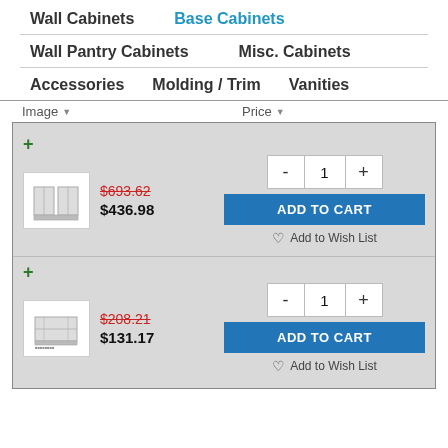Wall Cabinets   Base Cabinets
Wall Pantry Cabinets   Misc. Cabinets
Accessories   Molding / Trim   Vanities
| Image | Price |
| --- | --- |
| [cabinet image] | $693.62 (strikethrough), $436.98 |
| [cabinet image] | $208.21 (strikethrough), $131.17 |